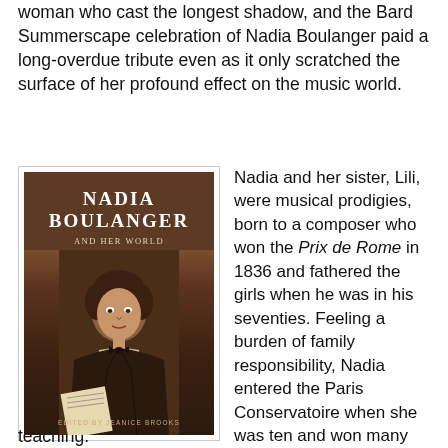woman who cast the longest shadow, and the Bard Summerscape celebration of Nadia Boulanger paid a long-overdue tribute even as it only scratched the surface of her profound effect on the music world.
[Figure (photo): Book cover of 'Nadia Boulanger and Her World', edited by Jeanice Brooks. Sepia-toned cover showing a portrait photograph of a young woman (Nadia Boulanger) seated, wearing a dark jacket and bow tie, with the title in white serif text above.]
Nadia and her sister, Lili, were musical prodigies, born to a composer who won the Prix de Rome in 1836 and fathered the girls when he was in his seventies. Feeling a burden of family responsibility, Nadia entered the Paris Conservatoire when she was ten and won many prizes there by the time she was 17 – although the Prix de Rome eluded her. She soon decided to forego composition and devote herself to performing and
teaching.